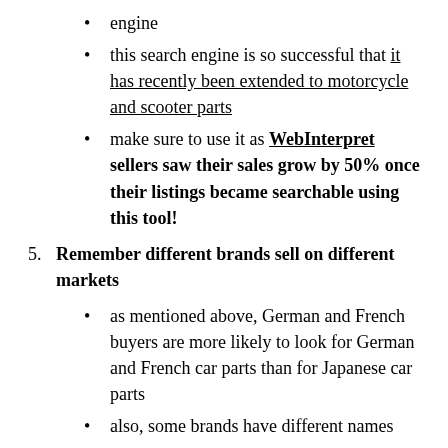engine
this search engine is so successful that it has recently been extended to motorcycle and scooter parts
make sure to use it as WebInterpret sellers saw their sales grow by 50% once their listings became searchable using this tool!
Remember different brands sell on different markets
as mentioned above, German and French buyers are more likely to look for German and French car parts than for Japanese car parts
also, some brands have different names